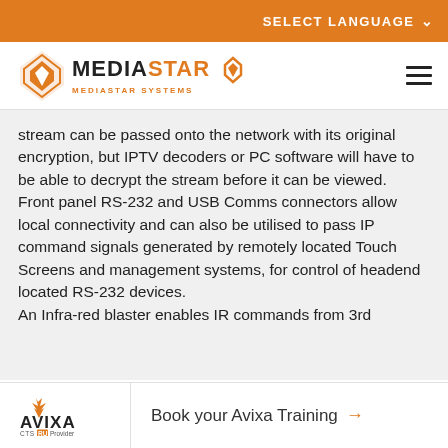SELECT LANGUAGE
[Figure (logo): MediaStar Systems logo with orange diamond/star graphic and text MEDIASTAR SYSTEMS]
stream can be passed onto the network with its original encryption, but IPTV decoders or PC software will have to be able to decrypt the stream before it can be viewed.
Front panel RS-232 and USB Comms connectors allow local connectivity and can also be utilised to pass IP command signals generated by remotely located Touch Screens and management systems, for control of headend located RS-232 devices.
An Infra-red blaster enables IR commands from 3rd
Book your Avixa Training →